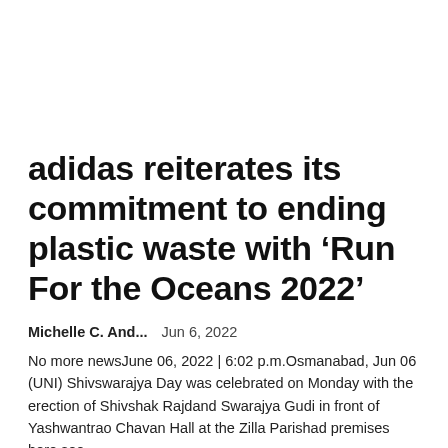adidas reiterates its commitment to ending plastic waste with ‘Run For the Oceans 2022’
Michelle C. And...   Jun 6, 2022
No more newsJune 06, 2022 | 6:02 p.m.Osmanabad, Jun 06 (UNI) Shivswarajya Day was celebrated on Monday with the erection of Shivshak Rajdand Swarajya Gudi in front of Yashwantrao Chavan Hall at the Zilla Parishad premises here.see...